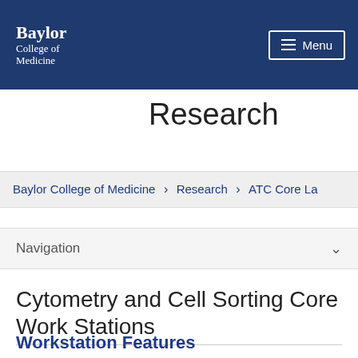Baylor College of Medicine
Research
Baylor College of Medicine > Research > ATC Core La
Navigation
Cytometry and Cell Sorting Core Work Stations
Workstation Features
Mac and PC computers
BD FACSDiva Software